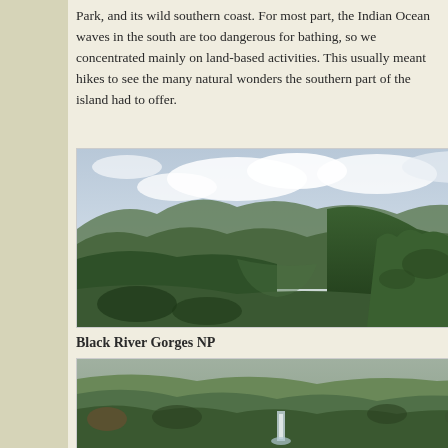Park, and its wild southern coast. For most part, the Indian Ocean waves in the south are too dangerous for bathing, so we concentrated mainly on land-based activities. This usually meant hikes to see the many natural wonders the southern part of the island had to offer.
[Figure (photo): Panoramic view of lush green mountain gorges with a partly cloudy sky above. Dense tropical forest covers the hills and valleys.]
Black River Gorges NP
[Figure (photo): View of Black River Gorges National Park showing dense tropical vegetation with a waterfall visible among the trees.]